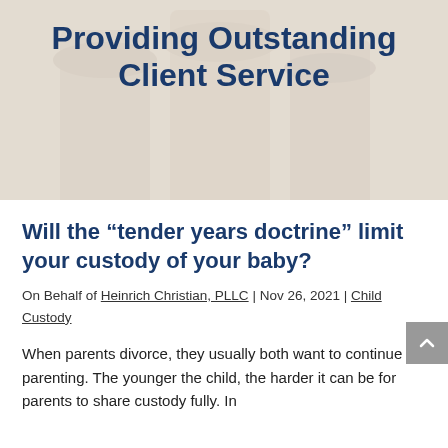[Figure (photo): Background image of classical stone courthouse columns in muted beige/cream tones with text overlay]
Providing Outstanding Client Service
Will the “tender years doctrine” limit your custody of your baby?
On Behalf of Heinrich Christian, PLLC | Nov 26, 2021 | Child Custody
When parents divorce, they usually both want to continue parenting. The younger the child, the harder it can be for parents to share custody fully. In